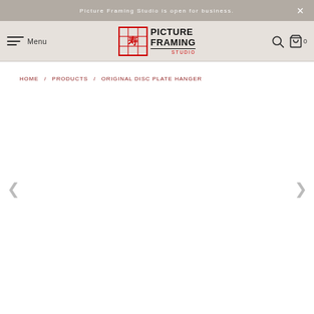Picture Framing Studio is open for business.
[Figure (logo): Picture Framing Studio logo with red square border containing decorative character, bold text PICTURE FRAMING with red STUDIO underline]
HOME / PRODUCTS / ORIGINAL DISC PLATE HANGER
[Figure (photo): Empty product image slider area for Original Disc Plate Hanger product page, with left and right navigation arrows]